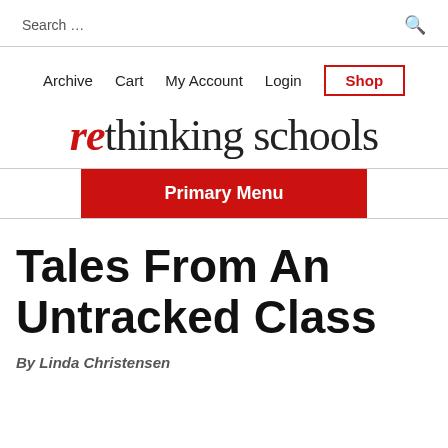Search ...
Archive  Cart  My Account  Login  Shop
rethinking schools
Primary Menu
Tales From An Untracked Class
By Linda Christensen